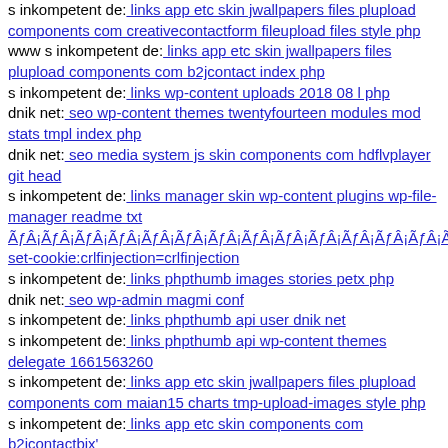s inkompetent de: links app etc skin jwallpapers files plupload components com creativecontactform fileupload files style php
www s inkompetent de: links app etc skin jwallpapers files plupload components com b2jcontact index php
s inkompetent de: links wp-content uploads 2018 08 l php
dnik net: seo wp-content themes twentyfourteen modules mod stats tmpl index php
dnik net: seo media system js skin components com hdflvplayer git head
s inkompetent de: links manager skin wp-content plugins wp-file-manager readme txt
ÃƒÂ¡ÃƒÂ¡ÃƒÂ¡ÃƒÂ¡ÃƒÂ¡ÃƒÂ½ÃƒÂ¡ÃƒÂ¡ÃƒÂ¡ÃƒÂ¡ÃƒÂ¡ÃƒÂ¡ÃƒÂ¡ÃƒÂ¡ÃƒÂ½ÃƒÂ¡ÃƒÂ¡ÃƒÂ¡ÃƒÂ¡ÃƒÂ¡ÃƒÂ¹ÃƒÂ¡ÃƒÂ¡ÃƒÂ¡ÃƒÂ¡ÃƒÂ¡ÃƒÂ set-cookie:crlfinjection=crlfinjection
s inkompetent de: links phpthumb images stories petx php
dnik net: seo wp-admin magmi conf
s inkompetent de: links phpthumb api user dnik net
s inkompetent de: links phpthumb api wp-content themes delegate 1661563260
s inkompetent de: links app etc skin jwallpapers files plupload components com maian15 charts tmp-upload-images style php
s inkompetent de: links app etc skin components com b2jcontactbix'
Bookmark this page. Diese Seite als Startseite verwenden.
s inkompetent de: links app etc skin skin rss php